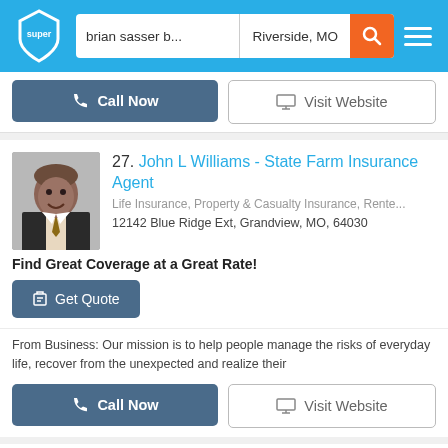brian sasser b... | Riverside, MO
Call Now | Visit Website
27. John L Williams - State Farm Insurance Agent
Life Insurance, Property & Casualty Insurance, Rente...
12142 Blue Ridge Ext, Grandview, MO, 64030
Find Great Coverage at a Great Rate!
Get Quote
From Business: Our mission is to help people manage the risks of everyday life, recover from the unexpected and realize their
Call Now | Visit Website
28. Peter Fox - State Farm Insurance Agent